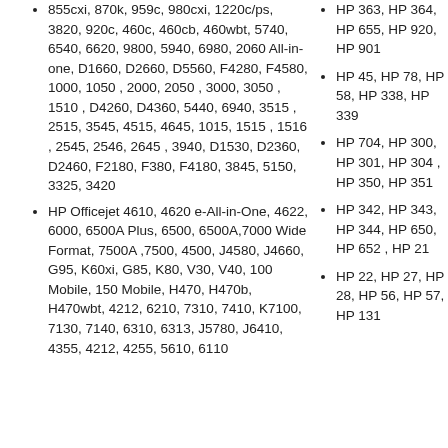855cxi, 870k, 959c, 980cxi, 1220c/ps, 3820, 920c, 460c, 460cb, 460wbt, 5740, 6540, 6620, 9800, 5940, 6980, 2060 All-in-one, D1660, D2660, D5560, F4280, F4580, 1000, 1050 , 2000, 2050 , 3000, 3050 , 1510 , D4260, D4360, 5440, 6940, 3515 , 2515, 3545, 4515, 4645, 1015, 1515 , 1516 , 2545, 2546, 2645 , 3940, D1530, D2360, D2460, F2180, F380, F4180, 3845, 5150, 3325, 3420
HP Officejet 4610, 4620 e-All-in-One, 4622, 6000, 6500A Plus, 6500, 6500A,7000 Wide Format, 7500A ,7500, 4500, J4580, J4660, G95, K60xi, G85, K80, V30, V40, 100 Mobile, 150 Mobile, H470, H470b, H470wbt, 4212, 6210, 7310, 7410, K7100, 7130, 7140, 6310, 6313, J5780, J6410, 4355, 4212, 4255, 5610, 6110
HP 363, HP 364, HP 655, HP 920, HP 901
HP 45, HP 78, HP 58, HP 338, HP 339
HP 704, HP 300, HP 301, HP 304 , HP 350, HP 351
HP 342, HP 343, HP 344, HP 650, HP 652 , HP 21
HP 22, HP 27, HP 28, HP 56, HP 57, HP 131